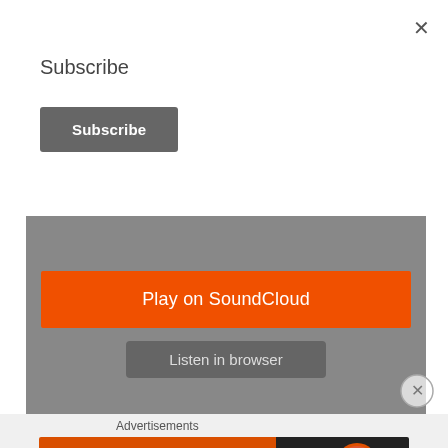×
Subscribe
Subscribe
[Figure (screenshot): SoundCloud embedded player widget with gray background, orange 'Play on SoundCloud' button, and 'Listen in browser' button]
Advertisements
[Figure (screenshot): DuckDuckGo advertisement banner: 'Search, browse, and email with more privacy. All in One Free App' with DuckDuckGo logo on dark right side]